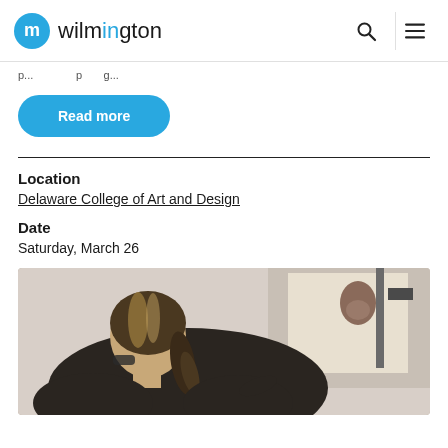wilmington
p...p g...
Read more
Location
Delaware College of Art and Design
Date
Saturday, March 26
[Figure (photo): A person with a ponytail and glasses, viewed from behind, working on an artwork or drawing on an easel]